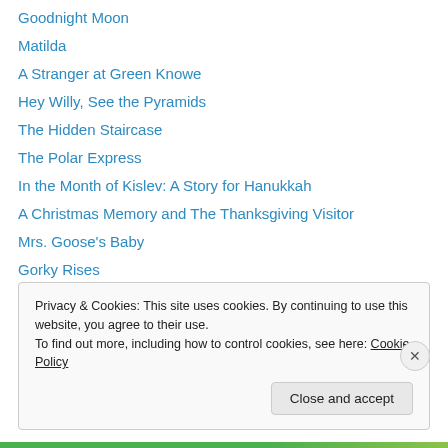Goodnight Moon
Matilda
A Stranger at Green Knowe
Hey Willy, See the Pyramids
The Hidden Staircase
The Polar Express
In the Month of Kislev: A Story for Hanukkah
A Christmas Memory and The Thanksgiving Visitor
Mrs. Goose's Baby
Gorky Rises
The Wizard of Oz
The Story of Ferdinand
Treasure Island
Privacy & Cookies: This site uses cookies. By continuing to use this website, you agree to their use. To find out more, including how to control cookies, see here: Cookie Policy